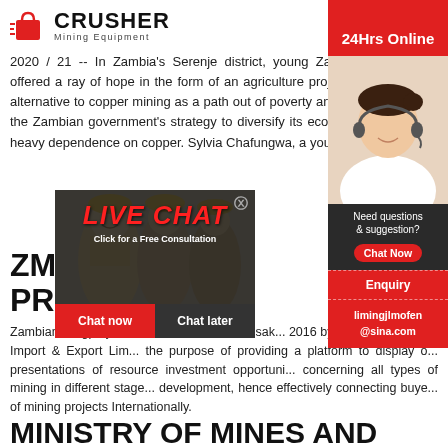[Figure (logo): Crusher Mining Equipment logo with red shopping bag icon and bold CRUSHER text]
2020 / 21 -- In Zambia's Serenje district, young Zambians are being offered a ray of hope in the form of an agriculture project that is both an alternative to copper mining as a path out of poverty and a key element of the Zambian government's strategy to diversify its economy away from a heavy dependence on copper. Sylvia Chafungwa, a young woman livin
ZMP M... PROJ...
Zambiaminingprojects was established in Lusaka, Zambia in 2016 by VZIEL (Vortexzam Import & Export Lim...) for the purpose of providing a platform to display o... presentations of resource investment opportuni... concerning all types of mining in different stage... development, hence effectively connecting buye... of mining projects Internationally.
MINISTRY OF MINES AND
[Figure (photo): Workers in yellow hard hats / live chat overlay with LIVE CHAT text, Click for a Free Consultation, Chat now and Chat later buttons]
[Figure (infographic): Right sidebar: 24Hrs Online red banner, customer service agent photo, Need questions & suggestion, Chat Now button, Enquiry section, limingjlmofen@sina.com email]